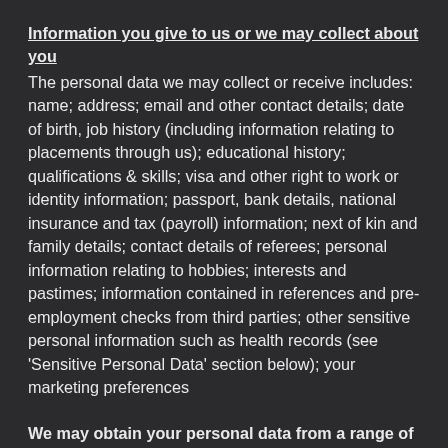Information you give to us or we may collect about you
The personal data we may collect or receive includes: name; address; email and other contact details; date of birth, job history (including information relating to placements through us); educational history; qualifications & skills; visa and other right to work or identity information; passport, bank details, national insurance and tax (payroll) information; next of kin and family details; contact details of referees; personal information relating to hobbies; interests and pastimes; information contained in references and pre-employment checks from third parties; other sensitive personal information such as health records (see 'Sensitive Personal Data' section below); your marketing preferences
We may obtain your personal data from a range of sources including: you (e.g. a Curriculum Vitae, application or registration form); a client; other candidates; online jobsites; marketing databases; the